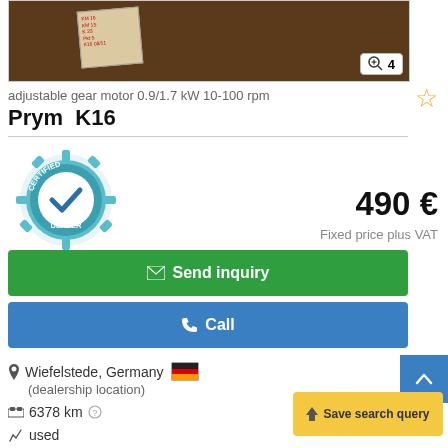[Figure (photo): Dark background product photo with a paper label/card visible. Zoom badge showing '4' in top-right corner.]
adjustable gear motor 0.9/1.7 kW 10-100 rpm
Prym  K16
[Figure (illustration): Certified Dealer badge/seal in teal/blue color with a checkmark]
490 €
Fixed price plus VAT
Send inquiry
Call
Wiefelstede, Germany 🇩🇪
(dealership location)
6378 km
Save search query
used